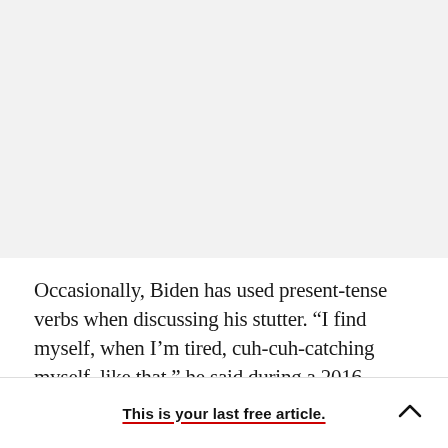[Figure (other): Large light gray blank area at the top of the page, representing a hidden or blurred image/advertisement area]
Occasionally, Biden has used present-tense verbs when discussing his stutter. “I find myself, when I’m tired, cuh-cuh-catching myself, like that,” he said during a 2016 American Institute for
This is your last free article.